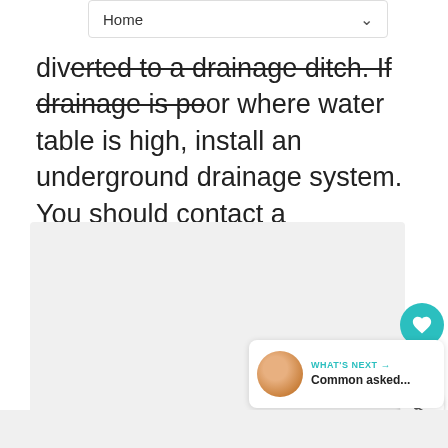Home
diverted to a drainage ditch. If drainage is poor where water table is high, install an underground drainage system. You should contact a contractor for this. If underground drains already exist, check to see if they are blocked.
[Figure (photo): Gray placeholder image area for a photo]
WHAT'S NEXT → Common asked...